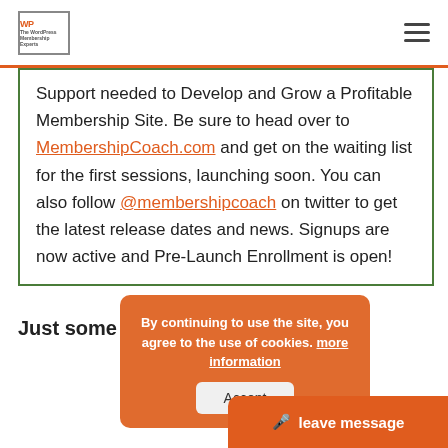WP [logo] | hamburger menu
Support needed to Develop and Grow a Profitable Membership Site. Be sure to head over to MembershipCoach.com and get on the waiting list for the first sessions, launching soon. You can also follow @membershipcoach on twitter to get the latest release dates and news. Signups are now active and Pre-Launch Enrollment is open!
By continuing to use the site, you agree to the use of cookies. more information [Accept button]
Just some reminders:
leave message